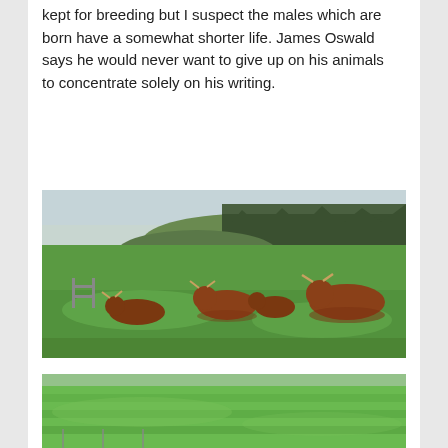kept for breeding but I suspect the males which are born have a somewhat shorter life. James Oswald says he would never want to give up on his animals to concentrate solely on his writing.
[Figure (photo): Highland cattle (several shaggy brown cattle with horns) grazing on a lush green field with rolling hills and a conifer forest in the background under an overcast sky.]
[Figure (photo): Partially visible photograph showing a green agricultural field, likely another view of the farm landscape.]